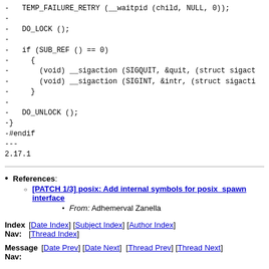- TEMP_FAILURE_RETRY (__waitpid (child, NULL, 0));
-
- DO_LOCK ();
-
- if (SUB_REF () == 0)
- {
- (void) __sigaction (SIGQUIT, &quit, (struct sigact
- (void) __sigaction (SIGINT, &intr, (struct sigacti
- }
-
- DO_UNLOCK ();
-}
-#endif
--
2.17.1
References: [PATCH 1/3] posix: Add internal symbols for posix_spawn interface — From: Adhemerval Zanella
Index Nav: [Date Index] [Subject Index] [Author Index] [Thread Index]
Message Nav: [Date Prev] [Date Next] [Thread Prev] [Thread Next]